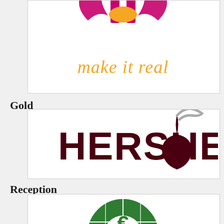[Figure (logo): Partial logo at top showing a stylized face/mask icon in magenta/pink with an orange oval shape, and text 'make it real' in orange handwritten-style font on white background]
Gold
[Figure (logo): Hershey's logo in dark maroon/brown bold uppercase letters 'HERSHEY' with the iconic Hershey's Kiss chocolate piece with a gray paper tag on white background]
Reception
[Figure (logo): Circular globe/world logo in dark green with white grid lines and the letter 'E' in the center with '1849' text, partially visible at bottom of page]